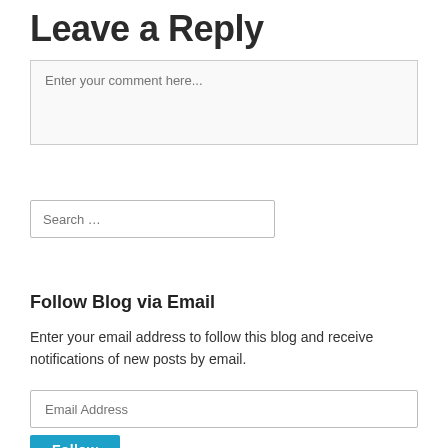Leave a Reply
Enter your comment here...
Search …
Follow Blog via Email
Enter your email address to follow this blog and receive notifications of new posts by email.
Email Address
Follow